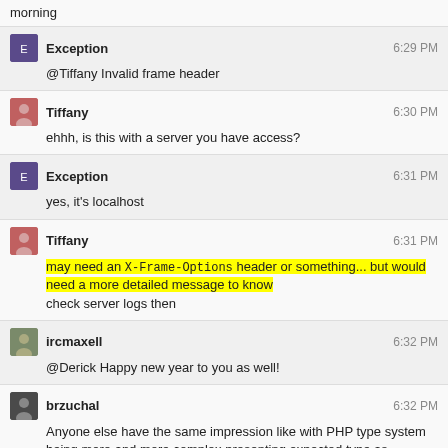morning
Exception  6:29 PM
@Tiffany Invalid frame header
Tiffany  6:30 PM
ehhh, is this with a server you have access?
Exception  6:31 PM
yes, it's localhost
Tiffany  6:31 PM
may need an X-Frame-Options header or something... but would need a more detailed message to know
check server logs then
ircmaxell  6:32 PM
@Derick Happy new year to you as well!
brzuchal  6:32 PM
Anyone else have the same impression like with PHP type system being more and more complex presenting expected type as arguments to some functionalities like deserializers/denormalizers etc. in form of a string is getting not enough?

I use for eg. Symfony's serializer extensively, but since the introduction of union types it still prevents me from removing a marker interface implemented by all union types I expect in return. I could implement a normalizer just like ArrayNormalizer works and explode('|', $type) received as a result of implode('|', [Foo::class, Bar::class]) but this IMO is weak